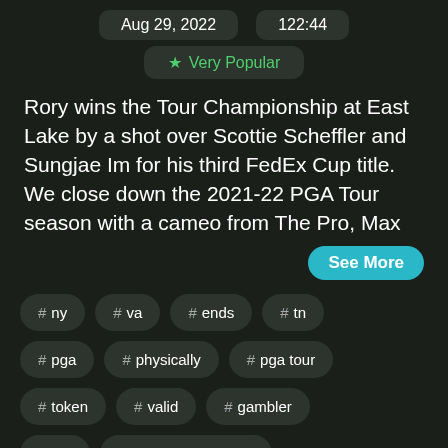Aug 29, 2022   122:44
★ Very Popular
Rory wins the Tour Championship at East Lake by a shot over Scottie Scheffler and Sungjae Im for his third FedEx Cup title. We close down the 2021-22 PGA Tour season with a cameo from The Pro, Max
See More
# ny
# va
# ends
# tn
# pga
# physically
# pga tour
# token
# valid
# gambler
# opt
# tour championship